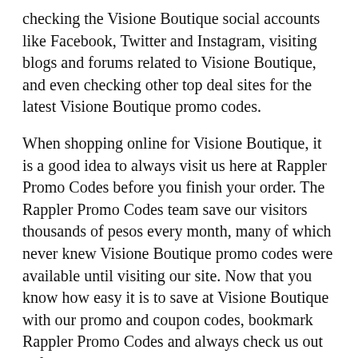checking the Visione Boutique social accounts like Facebook, Twitter and Instagram, visiting blogs and forums related to Visione Boutique, and even checking other top deal sites for the latest Visione Boutique promo codes.
When shopping online for Visione Boutique, it is a good idea to always visit us here at Rappler Promo Codes before you finish your order. The Rappler Promo Codes team save our visitors thousands of pesos every month, many of which never knew Visione Boutique promo codes were available until visiting our site. Now that you know how easy it is to save at Visione Boutique with our promo and coupon codes, bookmark Rappler Promo Codes and always check us out before you checkout.
If you are looking for more than just Visione Boutique coupon codes, here at Rappler Promo Codes we provide coupons and discounts for thousands of other popular brands and retailers. Check out our Visione Boutique related stores, or visit our homepage to search our database of thousands of promo codes.